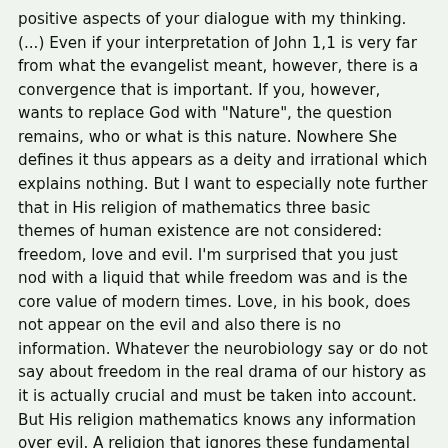positive aspects of your dialogue with my thinking. (...) Even if your interpretation of John 1,1 is very far from what the evangelist meant, however, there is a convergence that is important. If you, however, wants to replace God with "Nature", the question remains, who or what is this nature. Nowhere She defines it thus appears as a deity and irrational which explains nothing. But I want to especially note further that in His religion of mathematics three basic themes of human existence are not considered: freedom, love and evil. I'm surprised that you just nod with a liquid that while freedom was and is the core value of modern times. Love, in his book, does not appear on the evil and also there is no information. Whatever the neurobiology say or do not say about freedom in the real drama of our history as it is actually crucial and must be taken into account. But His religion mathematics knows any information over evil. A religion that ignores these fundamental questions is empty.